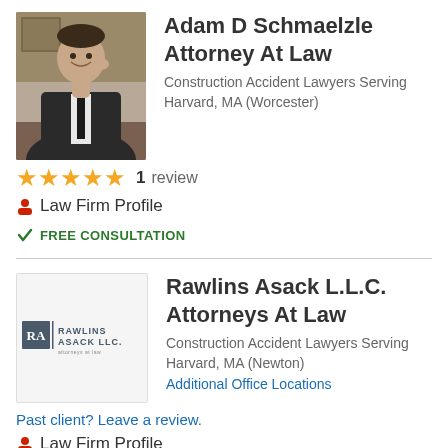[Figure (photo): Photo of Adam D Schmaelzle, a man in a suit sitting at a desk, smiling, on a phone call]
Adam D Schmaelzle Attorney At Law
Construction Accident Lawyers Serving Harvard, MA (Worcester)
★★★★★  1  review
🧑 Law Firm Profile
✔ FREE CONSULTATION
[Figure (logo): Rawlins Asack LLC logo with RA monogram in a dark blue box and firm name text]
Rawlins Asack L.L.C. Attorneys At Law
Construction Accident Lawyers Serving Harvard, MA (Newton)
Additional Office Locations
Past client? Leave a review.
🧑 Law Firm Profile